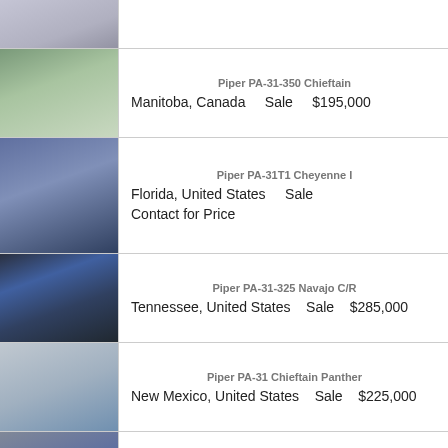[Figure (photo): Partial aircraft photo at top (cropped)]
[Figure (photo): Piper PA-31-350 Chieftain aircraft on ground, Manitoba Canada]
Piper PA-31-350 Chieftain
Manitoba, Canada   Sale   $195,000
[Figure (photo): Piper PA-31T1 Cheyenne I aircraft in hangar, Florida]
Piper PA-31T1 Cheyenne I
Florida, United States   Sale
Contact for Price
[Figure (photo): Piper PA-31-325 Navajo C/R cockpit interior, Tennessee]
Piper PA-31-325 Navajo C/R
Tennessee, United States   Sale   $285,000
[Figure (photo): Piper PA-31 Chieftain Panther aircraft on ramp, New Mexico]
Piper PA-31 Chieftain Panther
New Mexico, United States   Sale   $225,000
[Figure (photo): Piper PA-31-325 Navajo C/R aircraft in hangar, Florida]
Piper PA-31-325 Navajo C/R
Florida, United States   Sale   $79,900
[Figure (photo): Piper PA-31 Chieftain Panther partial photo at bottom]
Piper PA-31 Chieftain Panther